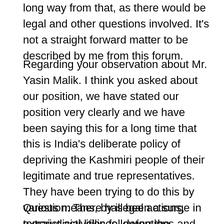long way from that, as there would be legal and other questions involved. It's not a straight forward matter to be described by me from this forum.
Regarding your observation about Mr. Yasin Malik. I think you asked about our position, we have stated our position very clearly and we have been saying this for a long time that this is India's deliberate policy of depriving the Kashmiri people of their legitimate and true representatives. They have been trying to do this by various means, by illegal actions, extrajudicial killings, detentions and arrests, fake cases and bogus trials under the ambit of black laws and a compromised judicial system, and as you mentioned 'judicial murder' but rest assured that we will agitate this matter forcefully at all fora and take all possible actions to prevent this.
Question: There has been a surge in terrorist activities following the termination of peace agreement by TTP. What is